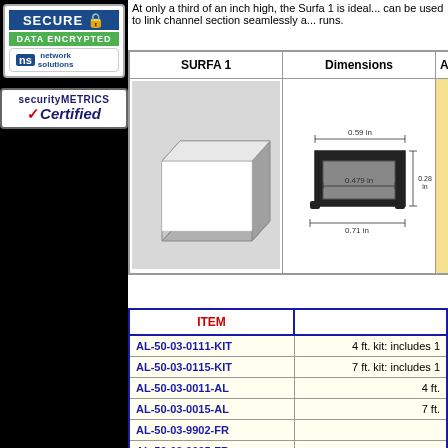[Figure (logo): Secure Data Encrypted Network Solutions badge]
[Figure (logo): SecurityMetrics Certified badge]
At only a third of an inch high, the Surfa 1 is ideal... can be used to link channel section seamlessly a... runs.
| SURFA 1 | Dimensions | A |
| --- | --- | --- |
| [channel image] | [dimensions diagram: 0.59 in, 0.479 in, 0.28 in, 0.71 in] | [install image] |
| ITEM |  |
| --- | --- |
| AL-50-03-0111-KIT | 4 ft. kit: includes 1 |
| AL-50-03-0115-KIT | 7 ft. kit: includes 1 |
| AL-50-03-0011-AL | 4 ft. |
| AL-50-03-0015-AL | 7 ft. |
| AL-50-03-9902-FR |  |
| AL-50-03-9905-FR |  |
| AL-50-03-9912-CLR |  |
| AL-50-03-9915-CLR |  |
| AL-50-03-9922-30 | Surfa 1 - Foc |